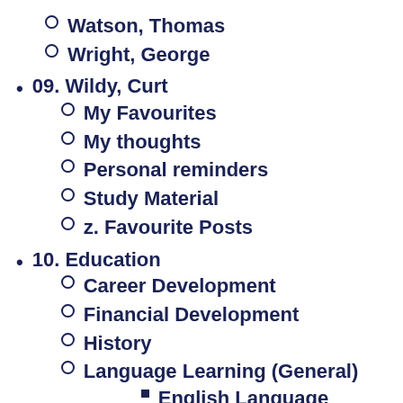Watson, Thomas
Wright, George
09. Wildy, Curt
My Favourites
My thoughts
Personal reminders
Study Material
z. Favourite Posts
10. Education
Career Development
Financial Development
History
Language Learning (General)
English Language